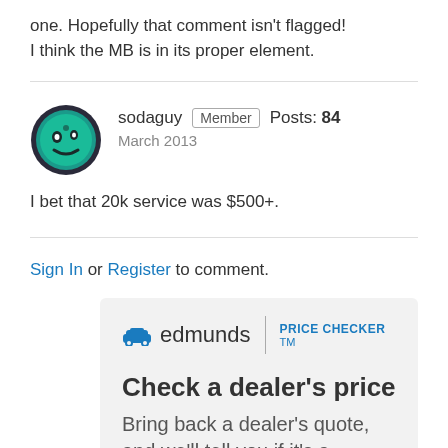one. Hopefully that comment isn't flagged! I think the MB is in its proper element.
sodaguy  Member  Posts: 84  March 2013
I bet that 20k service was $500+.
Sign In or Register to comment.
[Figure (infographic): Edmunds Price Checker TM advertisement box with logo, headline 'Check a dealer's price' and body text 'Bring back a dealer's quote, and we'll tell you if it's a']